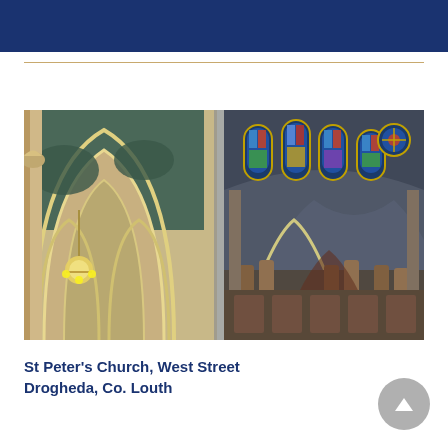[Figure (photo): Interior of St Peter's Church, West Street, Drogheda, Co. Louth — showing Gothic arched nave with cream and gold stonework, teal/green vaulted ceiling ribs, ornate chandelier, colourful stained glass windows in an apsidal sanctuary, and altar area with statues and decorative panels.]
St Peter's Church, West Street
Drogheda, Co. Louth